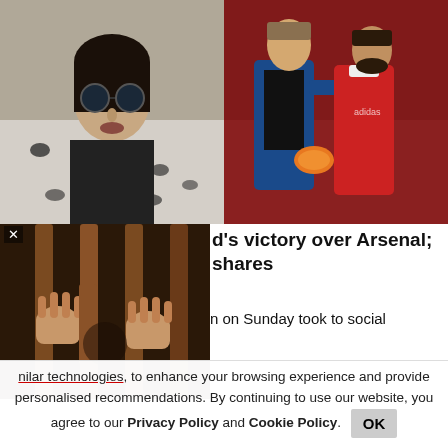[Figure (photo): Woman wearing round sunglasses and leopard print jacket, selfie style photo]
[Figure (photo): Two male football/soccer players in Manchester United kit hugging, one in blue goalkeeper kit holding orange gloves]
[Figure (photo): Hands gripping metal prison bars, close-up shot]
d's victory over Arsenal; shares
n on Sunday took to social
hilar technologies, to enhance your browsing experience and provide personalised recommendations. By continuing to use our website, you agree to our Privacy Policy and Cookie Policy.